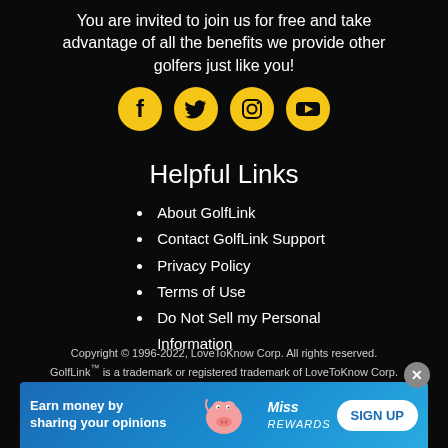You are invited to join us for free and take advantage of all the benefits we provide other golfers just like you!
[Figure (illustration): Four yellow circular social media icons: Facebook, Twitter, Instagram, YouTube]
Helpful Links
About GolfLink
Contact GolfLink Support
Privacy Policy
Terms of Use
Do Not Sell my Personal Information
Copyright © 1996-2022, LoveToKnow Corp. All rights reserved. GolfLink™ is a trademark or registered trademark of LoveToKnow Corp.
[Figure (infographic): Advertisement banner: Earn money by sharing your opinions. Shows a pink pig mascot and Miss Rewards logo with a SIGN UP button.]